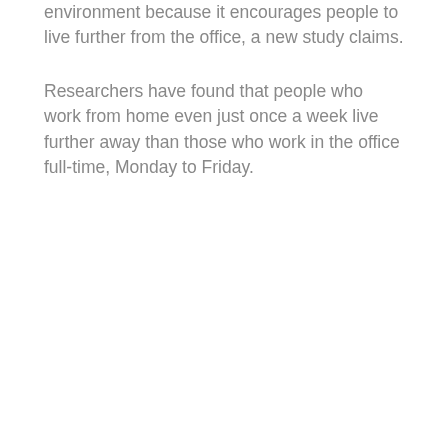environment because it encourages people to live further from the office, a new study claims.
Researchers have found that people who work from home even just once a week live further away than those who work in the office full-time, Monday to Friday.